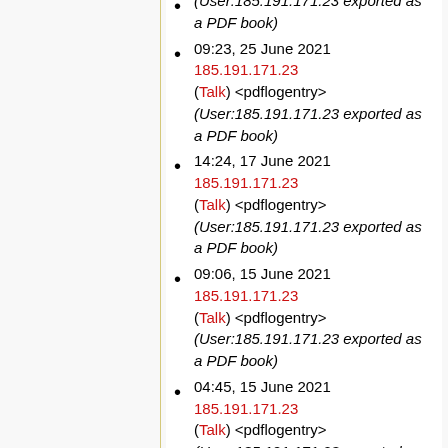(User:185.191.171.23 exported as a PDF book)
09:23, 25 June 2021 185.191.171.23 (Talk) <pdflogentry> (User:185.191.171.23 exported as a PDF book)
14:24, 17 June 2021 185.191.171.23 (Talk) <pdflogentry> (User:185.191.171.23 exported as a PDF book)
09:06, 15 June 2021 185.191.171.23 (Talk) <pdflogentry> (User:185.191.171.23 exported as a PDF book)
04:45, 15 June 2021 185.191.171.23 (Talk) <pdflogentry> (User:185.191.171.23 exported as a PDF book)
19:48, 12 June 2021 185.191.171.23 (Talk) <pdflogentry>